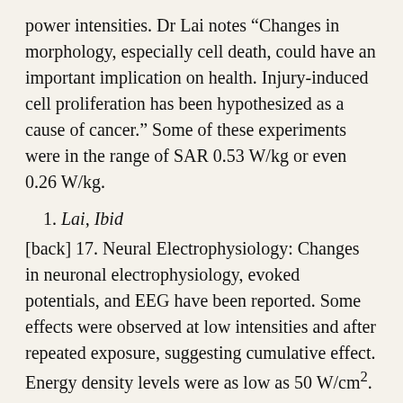power intensities. Dr Lai notes “Changes in morphology, especially cell death, could have an important implication on health. Injury-induced cell proliferation has been hypothesized as a cause of cancer.” Some of these experiments were in the range of SAR 0.53 W/kg or even 0.26 W/kg.
1. Lai, Ibid
[back] 17. Neural Electrophysiology: Changes in neuronal electrophysiology, evoked potentials, and EEG have been reported. Some effects were observed at low intensities and after repeated exposure, suggesting cumulative effect. Energy density levels were as low as 50 W/cm².
1. Lai, Ibid
[back] 18. Neurotransmitters: Neurotransmitters are molecules which transmit information from one nerve cell to another. Early studies have reported changes in various neurotransmitters (catecholamines, serotonin